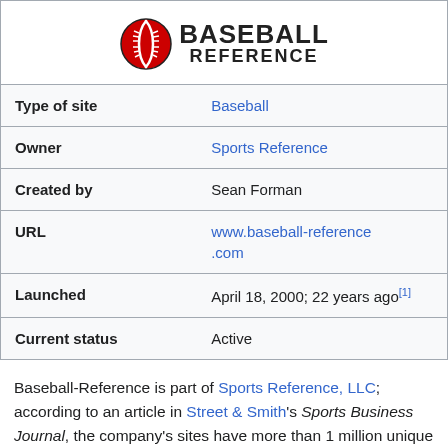[Figure (logo): Baseball Reference logo with red baseball icon and bold BASEBALL REFERENCE text]
| Type of site | Baseball |
| Owner | Sports Reference |
| Created by | Sean Forman |
| URL | www.baseball-reference.com |
| Launched | April 18, 2000; 22 years ago[1] |
| Current status | Active |
Baseball-Reference is part of Sports Reference, LLC; according to an article in Street & Smith's Sports Business Journal, the company's sites have more than 1 million unique users per month.[2]